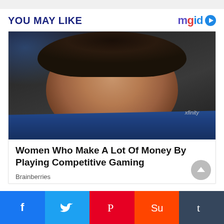YOU MAY LIKE
[Figure (logo): mgid logo with play button icon]
[Figure (photo): Woman with dark hair in blue gaming jersey looking intently at a screen, competitive gaming event setting]
Women Who Make A Lot Of Money By Playing Competitive Gaming
Brainberries
[Figure (infographic): Social media share bar with Facebook, Twitter, Pinterest, StumbleUpon, and Tumblr buttons]